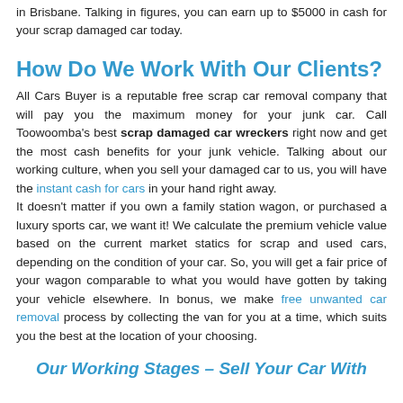in Brisbane. Talking in figures, you can earn up to $5000 in cash for your scrap damaged car today.
How Do We Work With Our Clients?
All Cars Buyer is a reputable free scrap car removal company that will pay you the maximum money for your junk car. Call Toowoomba's best scrap damaged car wreckers right now and get the most cash benefits for your junk vehicle. Talking about our working culture, when you sell your damaged car to us, you will have the instant cash for cars in your hand right away.
It doesn't matter if you own a family station wagon, or purchased a luxury sports car, we want it! We calculate the premium vehicle value based on the current market statics for scrap and used cars, depending on the condition of your car. So, you will get a fair price of your wagon comparable to what you would have gotten by taking your vehicle elsewhere. In bonus, we make free unwanted car removal process by collecting the van for you at a time, which suits you the best at the location of your choosing.
Our Working Stages – Sell Your Car With